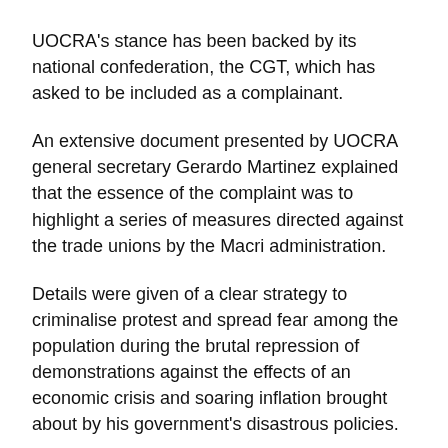UOCRA's stance has been backed by its national confederation, the CGT, which has asked to be included as a complainant.
An extensive document presented by UOCRA general secretary Gerardo Martinez explained that the essence of the complaint was to highlight a series of measures directed against the trade unions by the Macri administration.
Details were given of a clear strategy to criminalise protest and spread fear among the population during the brutal repression of demonstrations against the effects of an economic crisis and soaring inflation brought about by his government's disastrous policies.
The videoed meeting took place at the offices of the Bapro bank, in the Buenos Aires provincial capital of La Plata, a